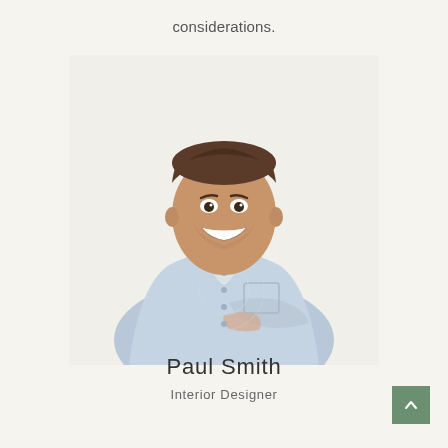considerations.
[Figure (photo): Young man with dark hair, smiling, arms crossed, wearing a light blue denim shirt, standing against a light background]
Paul Smith
Interior Designer